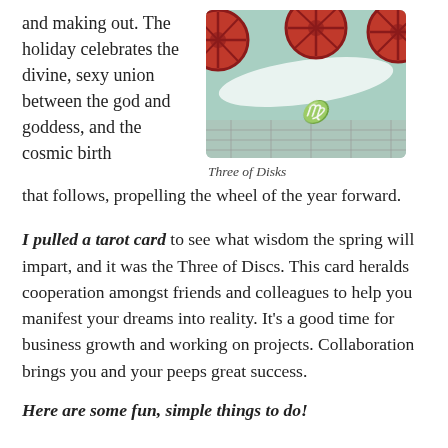and making out. The holiday celebrates the divine, sexy union between the god and goddess, and the cosmic birth that follows, propelling the wheel of the year forward.
[Figure (illustration): Tarot card illustration showing three red disks/wheels against a teal/green background with a white curved shape resembling a blade or crescent, and a cursive symbol at the bottom center.]
Three of Disks
I pulled a tarot card to see what wisdom the spring will impart, and it was the Three of Discs. This card heralds cooperation amongst friends and colleagues to help you manifest your dreams into reality. It's a good time for business growth and working on projects. Collaboration brings you and your peeps great success.
Here are some fun, simple things to do!